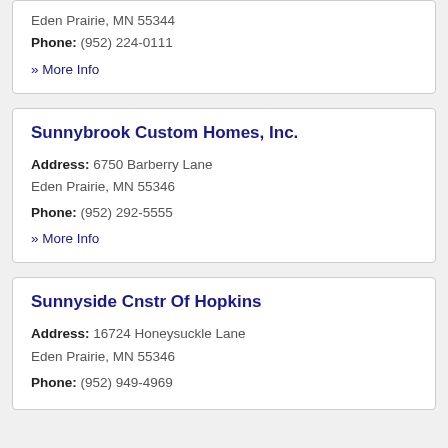Eden Prairie, MN 55344
Phone: (952) 224-0111
» More Info
Sunnybrook Custom Homes, Inc.
Address: 6750 Barberry Lane
Eden Prairie, MN 55346
Phone: (952) 292-5555
» More Info
Sunnyside Cnstr Of Hopkins
Address: 16724 Honeysuckle Lane
Eden Prairie, MN 55346
Phone: (952) 949-4969